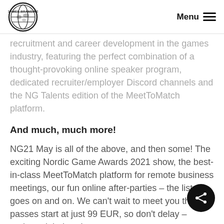Games Branding | Menu
recruitment and career development in the games industry, featuring the perfect combination of a thought-provoking online speaker program, dedicated recruiter/employer Discord channels and the NG Talents edition of the MeetToMatch platform.
And much, much more!
NG21 May is all of the above, and then some! The exciting Nordic Game Awards 2021 show, the best-in-class MeetToMatch platform for remote business meetings, our fun online after-parties – the list goes on and on. We can't wait to meet you there – passes start at just 99 EUR, so don't delay – register right here! (conf.nordicgame.com/register)